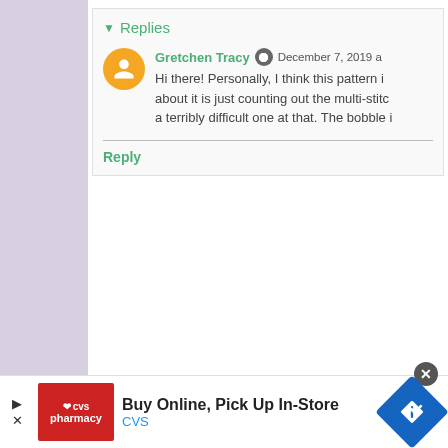▾ Replies
Gretchen Tracy  December 7, 2019 a
Hi there! Personally, I think this pattern i... about it is just counting out the multi-stit... a terribly difficult one at that. The bobble i...
Reply
Newer Post
Home
[Figure (infographic): CVS Pharmacy advertisement banner: Buy Online, Pick Up In-Store]